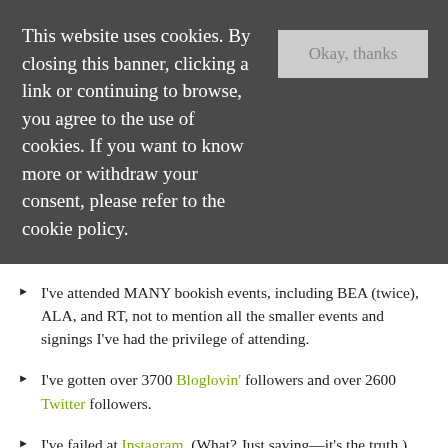This website uses cookies. By closing this banner, clicking a link or continuing to browse, you agree to the use of cookies. If you want to know more or withdraw your consent, please refer to the cookie policy.
I've posted a master list of Reading and Book Blogging Challenges for the past four years.
I've attended MANY bookish events, including BEA (twice), ALA, and RT, not to mention all the smaller events and signings I've had the privilege of attending.
I've gotten over 3700 Bloglovin' followers and over 2600 Twitter followers.
I've failed at Instagram. (What? Just saying—it's the truth.)
I've attended two SCBWI (Society of Children's Book Writers & Illustrators) conferences and one WIFYR (Writing & Illustration for Young Readers) and…